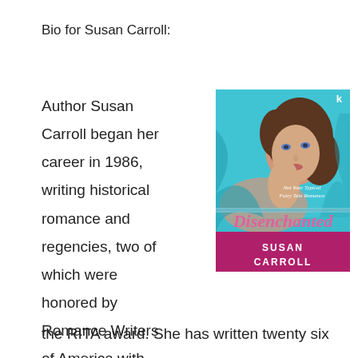Bio for Susan Carroll:
Author Susan Carroll began her career in 1986, writing historical romance and regencies, two of which were honored by Romance Writers of America with
[Figure (illustration): Book cover of 'Disenchanted' by Susan Carroll. A woman with brown hair lying on teal/blue fabric, with the subtitle 'Not Your Typical Fairy Tale Romance'. The bottom portion is magenta/purple with 'Disenchanted' in pink script and 'Susan Carroll' in large white serif text.]
the RITA award. She has written twenty six